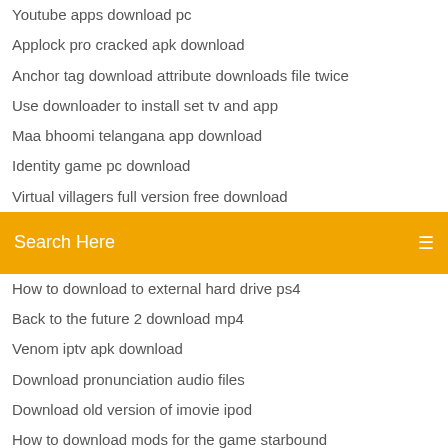Youtube apps download pc
Applock pro cracked apk download
Anchor tag download attribute downloads file twice
Use downloader to install set tv and app
Maa bhoomi telangana app download
Identity game pc download
Virtual villagers full version free download
Search Here
How to download to external hard drive ps4
Back to the future 2 download mp4
Venom iptv apk download
Download pronunciation audio files
Download old version of imovie ipod
How to download mods for the game starbound
FireAlpaca is the free Digital Painting Software that is available in 10 languages and compatible It's Free...FOREVER! Download the